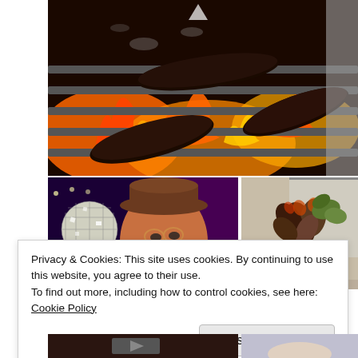[Figure (photo): Close-up photo of burnt/charred sausages on a barbecue grill with bright orange flames visible underneath the grill grates]
[Figure (photo): Photo of a man with wide open mouth and surprised expression wearing a hat with a sparkling disco ball beside him against a dark purple background]
[Figure (photo): Photo of a succulent plant in a colorful Day of the Dead / sugar skull decorated white pot on a light surface]
Privacy & Cookies: This site uses cookies. By continuing to use this website, you agree to their use.
To find out more, including how to control cookies, see here: Cookie Policy
Close and accept
[Figure (photo): Partial bottom strip showing two more photos cut off at page bottom]